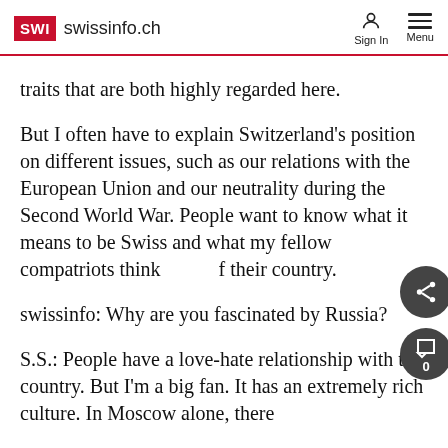SWI swissinfo.ch — Sign In  Menu
traits that are both highly regarded here.
But I often have to explain Switzerland's position on different issues, such as our relations with the European Union and our neutrality during the Second World War. People want to know what it means to be Swiss and what my fellow compatriots think of their country.
swissinfo: Why are you fascinated by Russia?
S.S.: People have a love-hate relationship with the country. But I'm a big fan. It has an extremely rich culture. In Moscow alone, there